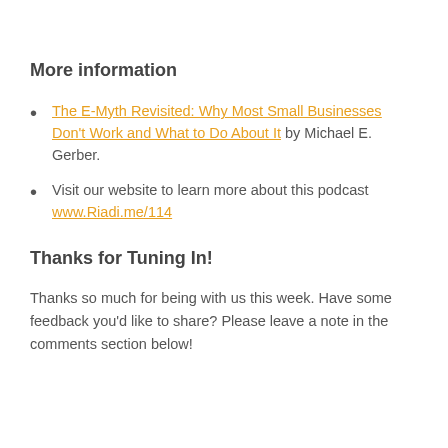More information
The E-Myth Revisited: Why Most Small Businesses Don't Work and What to Do About It by Michael E. Gerber.
Visit our website to learn more about this podcast www.Riadi.me/114
Thanks for Tuning In!
Thanks so much for being with us this week. Have some feedback you'd like to share? Please leave a note in the comments section below!